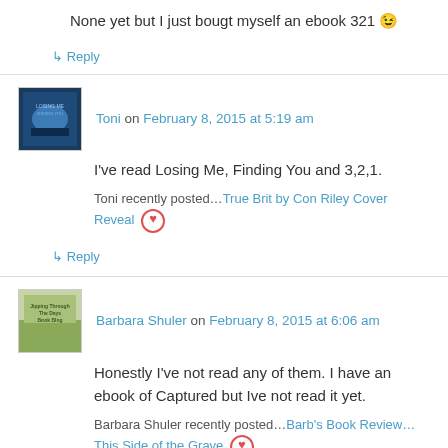None yet but I just bougt myself an ebook 321 😉
↳ Reply
Toni on February 8, 2015 at 5:19 am
I've read Losing Me, Finding You and 3,2,1.
Toni recently posted…True Brit by Con Riley Cover Reveal ❤
↳ Reply
Barbara Shuler on February 8, 2015 at 6:06 am
Honestly I've not read any of them. I have an ebook of Captured but Ive not read it yet.
Barbara Shuler recently posted…Barb's Book Review… This Side of the Grave ❤
↳ Reply
Stephanie on February 8, 2015 at 7:57 am